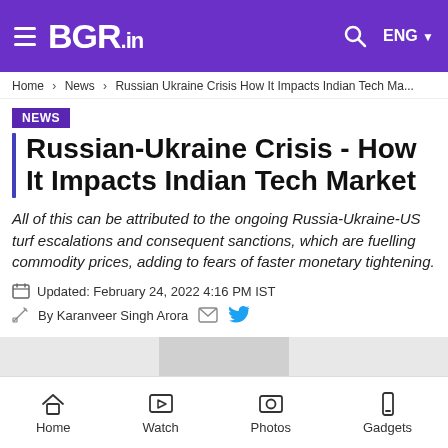BGR.in — ENG
Home > News > Russian Ukraine Crisis How It Impacts Indian Tech Ma...
NEWS
Russian-Ukraine Crisis - How It Impacts Indian Tech Market
All of this can be attributed to the ongoing Russia-Ukraine-US turf escalations and consequent sanctions, which are fuelling commodity prices, adding to fears of faster monetary tightening.
Updated: February 24, 2022 4:16 PM IST
By Karanveer Singh Arora
Home  Watch  Photos  Gadgets